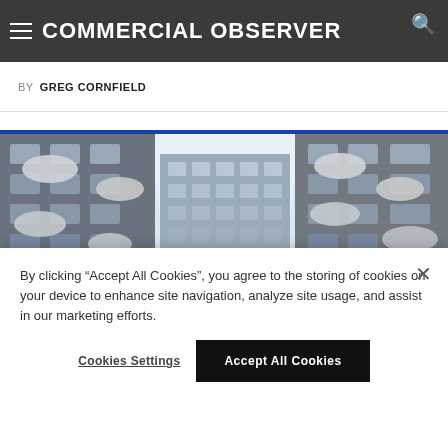COMMERCIAL OBSERVER
BY GREG CORNFIELD
[Figure (photo): Upward-angled photo of a multi-story building with curved balconies and windows, viewed from a narrow courtyard or alley, in a blue-tinted black-and-white style]
By clicking "Accept All Cookies", you agree to the storing of cookies on your device to enhance site navigation, analyze site usage, and assist in our marketing efforts.
Cookies Settings
Accept All Cookies